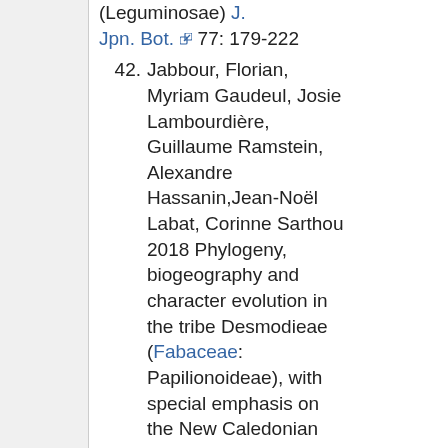(Leguminosae) J. Jpn. Bot. 77: 179-222
42. Jabbour, Florian, Myriam Gaudeul, Josie Lambourdière, Guillaume Ramstein, Alexandre Hassanin,Jean-Noël Labat, Corinne Sarthou 2018 Phylogeny, biogeography and character evolution in the tribe Desmodieae (Fabaceae: Papilionoideae), with special emphasis on the New Caledonian